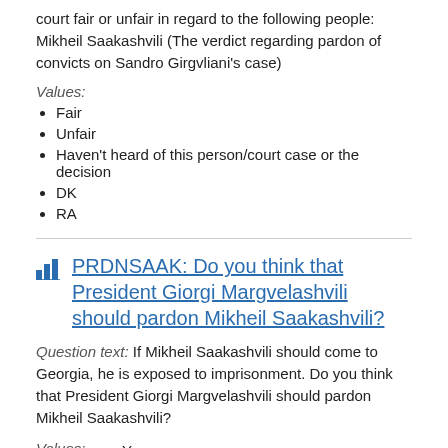court fair or unfair in regard to the following people: Mikheil Saakashvili (The verdict regarding pardon of convicts on Sandro Girgvliani's case)
Values:
Fair
Unfair
Haven't heard of this person/court case or the decision
DK
RA
PRDNSAAK: Do you think that President Giorgi Margvelashvili should pardon Mikheil Saakashvili?
Question text: If Mikheil Saakashvili should come to Georgia, he is exposed to imprisonment. Do you think that President Giorgi Margvelashvili should pardon Mikheil Saakashvili?
Values:
Yes
No
DK
RA